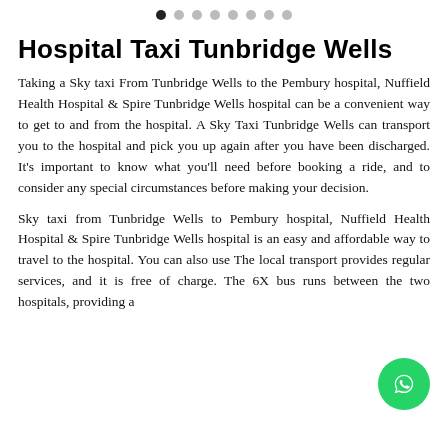● ○ ○ ○ ○ ○ ○ ○ (pagination dots)
Hospital Taxi Tunbridge Wells
Taking a Sky taxi From Tunbridge Wells to the Pembury hospital, Nuffield Health Hospital & Spire Tunbridge Wells hospital can be a convenient way to get to and from the hospital. A Sky Taxi Tunbridge Wells can transport you to the hospital and pick you up again after you have been discharged. It's important to know what you'll need before booking a ride, and to consider any special circumstances before making your decision.
Sky taxi from Tunbridge Wells to Pembury hospital, Nuffield Health Hospital & Spire Tunbridge Wells hospital is an easy and affordable way to travel to the hospital. You can also use The local transport provides regular services, and it is free of charge. The 6X bus runs between the two hospitals, providing a